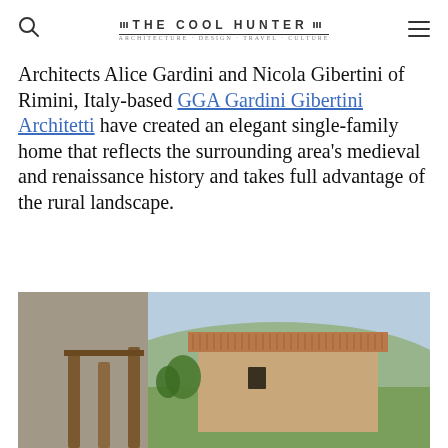THE COOL HUNTER
Architects Alice Gardini and Nicola Gibertini of Rimini, Italy-based GGA Gardini Gibertini Architetti have created an elegant single-family home that reflects the surrounding area's medieval and renaissance history and takes full advantage of the rural landscape.
[Figure (photo): Exterior view of a stone and brick single-family home with terracotta tile roof, wooden column pergola in the foreground, set against a hillside landscape with a clear sky.]